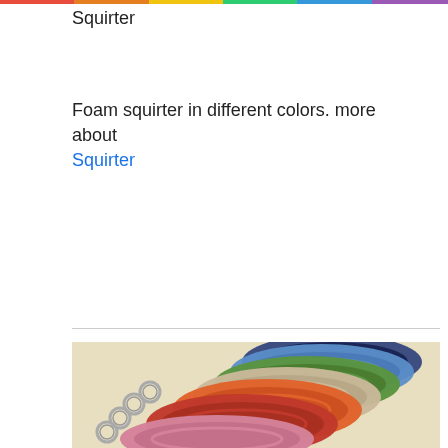Squirter
Foam squirter in different colors. more about Squirter
[Figure (photo): Multiple colorful crocheted coin purses or keychains fanned out, in colors including navy, blue, green, beige, orange, red, and pink, each attached to a metal key ring, on a light beige background.]